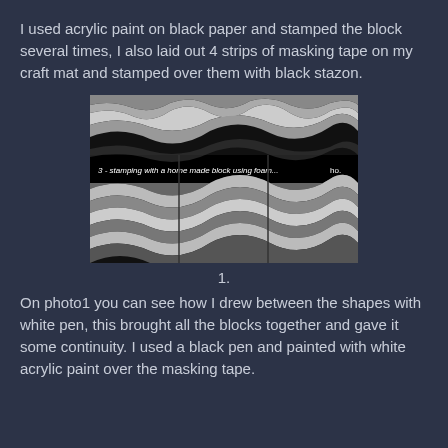I used acrylic paint on black paper and stamped the block several times, I also laid out 4 strips of masking tape on my craft mat and stamped over them with black stazon.
[Figure (photo): Black and white photo showing wave-like stamped patterns on paper, with handwritten text 'stamping with a home made block using foam...' visible across the middle of the image]
1.
On photo1 you can see how I drew between the shapes with white pen, this brought all the blocks together and gave it some continuity. I used a black pen and painted with white acrylic paint over the masking tape.